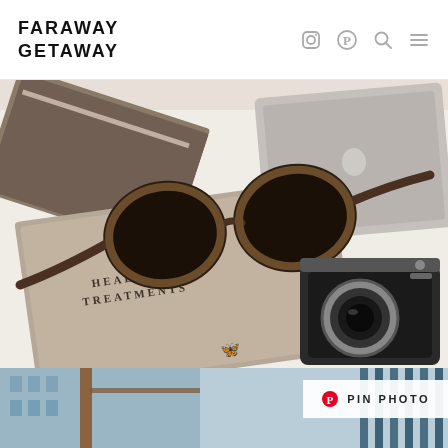FARAWAY GETAWAY
[Figure (photo): Flat lay photo of travel accessories on a white surface: sunglasses, a book labeled HEALING TREATMENTS, a laptop, a vintage camera]
[Figure (photo): Partial photo of a building with blue tones, with a PIN PHOTO button overlay]